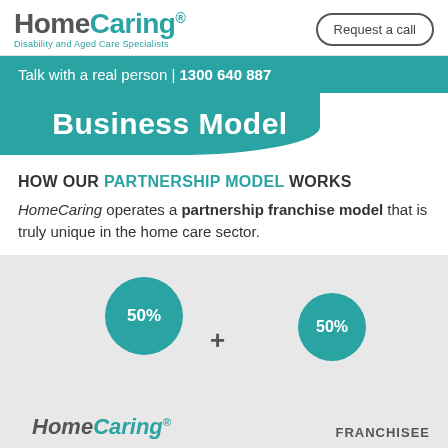HomeCaring® Disability and Aged Care Specialists | Request a call
Talk with a real person | 1300 640 887
Business Model
HOW OUR PARTNERSHIP MODEL WORKS
HomeCaring operates a partnership franchise model that is truly unique in the home care sector.
[Figure (infographic): Two teal circles each showing '50%' with a '+' sign between them, above HomeCaring logo and FRANCHISEE label, on a gray background, representing the 50/50 partnership split.]